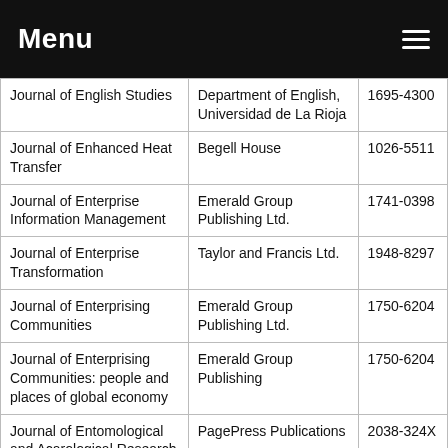Menu
| Journal of English Studies | Department of English, Universidad de La Rioja | 1695-4300 |
| Journal of Enhanced Heat Transfer | Begell House | 1026-5511 |
| Journal of Enterprise Information Management | Emerald Group Publishing Ltd. | 1741-0398 |
| Journal of Enterprise Transformation | Taylor and Francis Ltd. | 1948-8297 |
| Journal of Enterprising Communities | Emerald Group Publishing Ltd. | 1750-6204 |
| Journal of Enterprising Communities: people and places of global economy | Emerald Group Publishing | 1750-6204 |
| Journal of Entomological and Acarological Research | PagePress Publications | 2038-324X |
| Journal of Entomological Research | Malhotra Publishing House | 0378-9519 |
| Journal of Entomological Science | Georgia Entomological Society, Inc. | 7498-8004 |
| Journal of Entomology | Asian Network for Scientific Information | 1812-5689 |
| Journal of Entrepreneurship | Sage Publications | 9713-3557 |
| Journal of … | Emerald Group Publishing | 2045-… |